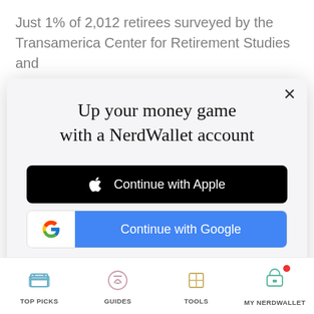Just 1% of 2,012 retirees surveyed by the Transamerica Center for Retirement Studies and
Up your money game with a NerdWallet account
[Figure (screenshot): Black button with Apple logo: Continue with Apple]
[Figure (screenshot): Google button with G logo: Continue with Google]
or continue with email
By signing up, I agree to NerdWallet's Terms of Service and Privacy Policy.
TOP PICKS   GUIDES   TOOLS   MY NERDWALLET